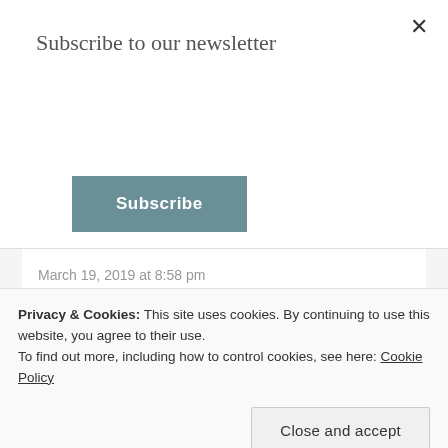Subscribe to our newsletter
Subscribe
March 19, 2019 at 8:58 pm
Oh, thank you so much, Pam!! What an honor to have you say so. ❤❤❤
★ Like
Reply
Karen Klanstaan says:
Privacy & Cookies: This site uses cookies. By continuing to use this website, you agree to their use. To find out more, including how to control cookies, see here: Cookie Policy
Close and accept